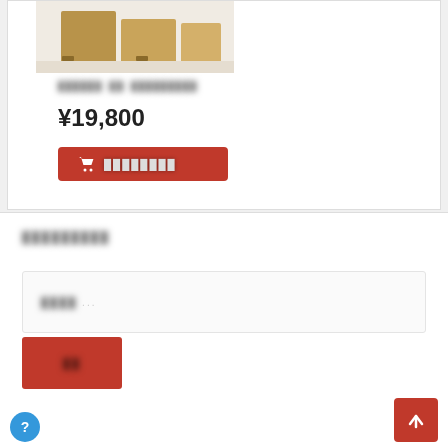[Figure (photo): Product photo of wooden furniture/cabinet]
██████ ██ █████████
¥19,800
█████████ (Add to cart button)
█████████
████ ...
██ (Submit button)